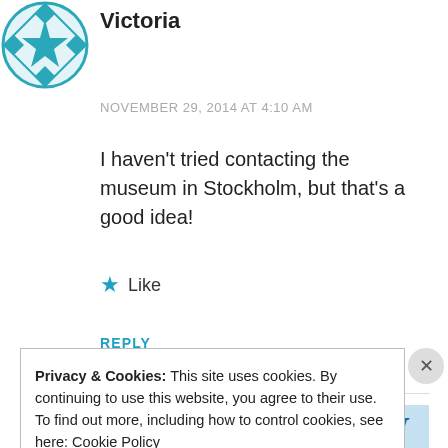[Figure (illustration): Teal geometric/quilt pattern avatar icon in top-left corner]
Victoria
NOVEMBER 29, 2014 AT 4:10 AM
I haven't tried contacting the museum in Stockholm, but that's a good idea!
★ Like
REPLY
GET THE APP
[Figure (logo): WordPress W logo in blue on light blue background]
Privacy & Cookies: This site uses cookies. By continuing to use this website, you agree to their use.
To find out more, including how to control cookies, see here: Cookie Policy
Close and accept